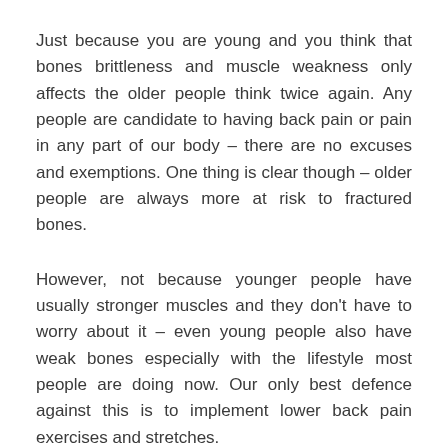Just because you are young and you think that bones brittleness and muscle weakness only affects the older people think twice again. Any people are candidate to having back pain or pain in any part of our body – there are no excuses and exemptions. One thing is clear though – older people are always more at risk to fractured bones.
However, not because younger people have usually stronger muscles and they don't have to worry about it – even young people also have weak bones especially with the lifestyle most people are doing now. Our only best defence against this is to implement lower back pain exercises and stretches.